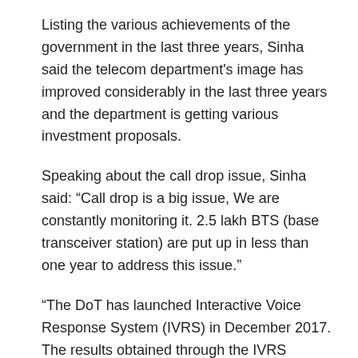Listing the various achievements of the government in the last three years, Sinha said the telecom department's image has improved considerably in the last three years and the department is getting various investment proposals.
Speaking about the call drop issue, Sinha said: “Call drop is a big issue, We are constantly monitoring it. 2.5 lakh BTS (base transceiver station) are put up in less than one year to address this issue.”
“The DoT has launched Interactive Voice Response System (IVRS) in December 2017. The results obtained through the IVRS platform show that the call drops reported by subscribers have dropped from 64 per cent in December 2016 to 57 per cent at the end of March 2017, a drop of nearly 7 per cent in three months,” he added.